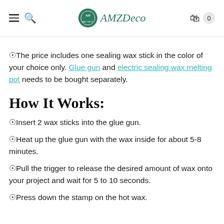AMZDeco — navigation header with hamburger menu, search, logo, cart (0)
◎The price includes one sealing wax stick in the color of your choice only. Glue gun and electric sealing wax melting pot needs to be bought separately.
How It Works:
◎Insert 2 wax sticks into the glue gun.
◎Heat up the glue gun with the wax inside for about 5-8 minutes.
◎Pull the trigger to release the desired amount of wax onto your project and wait for 5 to 10 seconds.
◎Press down the stamp on the hot wax.